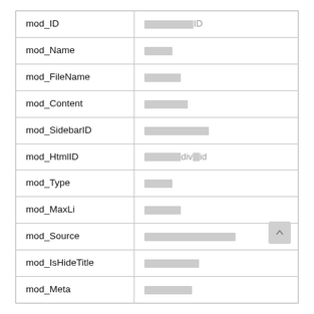| mod_ID | ██████ID |
| mod_Name | ████ |
| mod_FileName | █████ |
| mod_Content | ██████ |
| mod_SidebarID | ██████████ |
| mod_HtmlID | █████div█id |
| mod_Type | ████ |
| mod_MaxLi | █████ |
| mod_Source | ███████████████ |
| mod_IsHideTitle | ████████ |
| mod_Meta | ███████ |